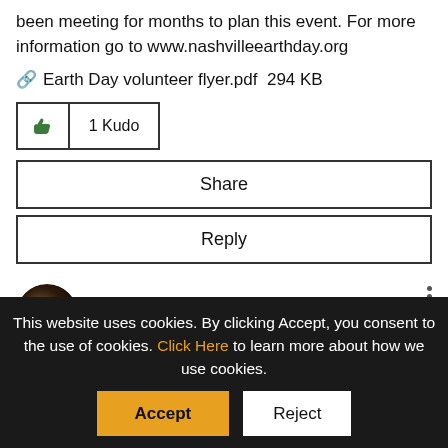been meeting for months to plan this event. For more information go to www.nashvilleearthday.org
📎 Earth Day volunteer flyer.pdf 294 KB
1 Kudo
Share
Reply
Alexmadonik
Re: How will yo ur Local Section...
This website uses cookies. By clicking Accept, you consent to the use of cookies. Click Here to learn more about how we use cookies.